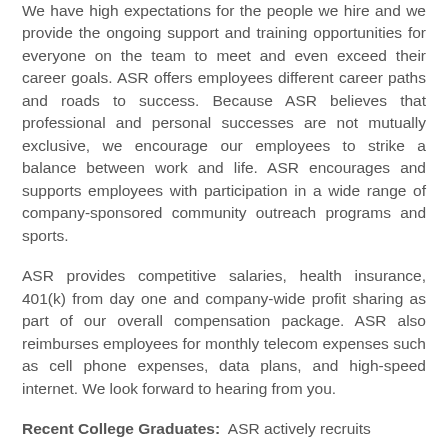We have high expectations for the people we hire and we provide the ongoing support and training opportunities for everyone on the team to meet and even exceed their career goals. ASR offers employees different career paths and roads to success. Because ASR believes that professional and personal successes are not mutually exclusive, we encourage our employees to strike a balance between work and life. ASR encourages and supports employees with participation in a wide range of company-sponsored community outreach programs and sports.
ASR provides competitive salaries, health insurance, 401(k) from day one and company-wide profit sharing as part of our overall compensation package. ASR also reimburses employees for monthly telecom expenses such as cell phone expenses, data plans, and high-speed internet. We look forward to hearing from you.
Recent College Graduates: ASR actively recruits